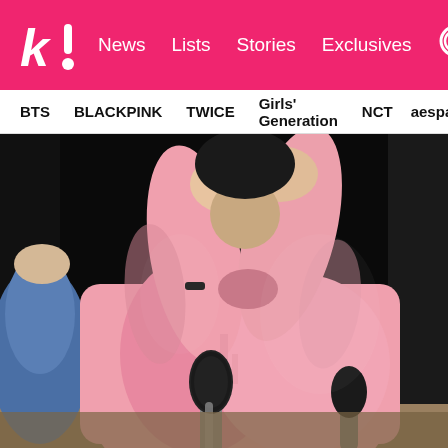k! News Lists Stories Exclusives
BTS BLACKPINK TWICE Girls' Generation NCT aespa
[Figure (photo): Person wearing a pink hoodie covering face with hands, sitting with a microphone in front on a table, dark background, another person partially visible wearing blue denim on the left]